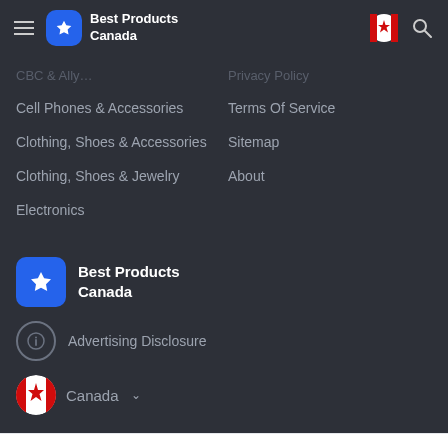Best Products Canada
Cell Phones & Accessories
Terms Of Service
Clothing, Shoes & Accessories
Sitemap
Clothing, Shoes & Jewelry
About
Electronics
[Figure (logo): Best Products Canada logo — blue rounded square with white star/arrow icon, beside bold white text 'Best Products Canada']
Advertising Disclosure
Canada
We use cookies to enhance your experience with us. privacy policy.